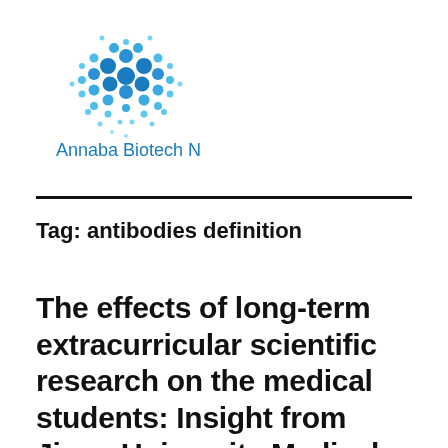[Figure (logo): Annaba Biotech News logo: a molecular/network cluster of blue dots arranged in a brain-like shape, with the text 'Annaba Biotech News' below in blue sans-serif font]
Tag: antibodies definition
The effects of long-term extracurricular scientific research on the medical students: Insight from Jinan University Medical